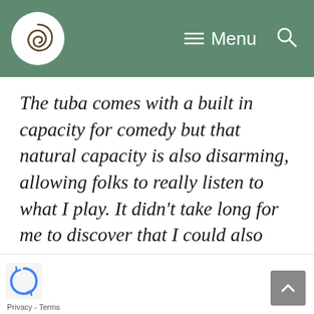Menu
The tuba comes with a built in capacity for comedy but that natural capacity is also disarming, allowing folks to really listen to what I play. It didn't take long for me to discover that I could also play something beautiful and really reach them in a way that would have otherwise been much more difficult without the natural disarming effect. though I knew the girl with loads of